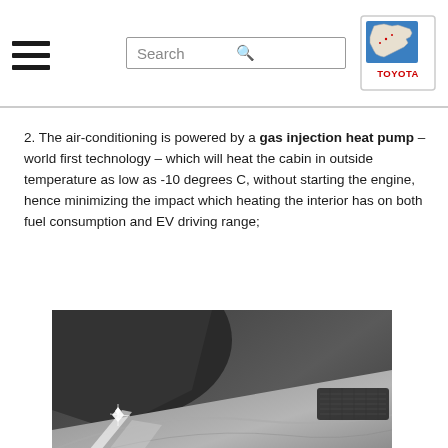2. The air-conditioning is powered by a gas injection heat pump – world first technology – which will heat the cabin in outside temperature as low as -10 degrees C, without starting the engine, hence minimizing the impact which heating the interior has on both fuel consumption and EV driving range;
[Figure (photo): Close-up photo of a Toyota car interior dashboard/hood area showing smooth curves, blue LED indicator lights, and ventilation grilles. The image has a dark, sleek, premium feel with silver/grey tones.]